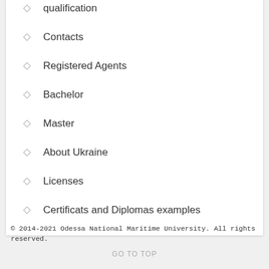qualification
Contacts
Registered Agents
Bachelor
Master
About Ukraine
Licenses
Certificats and Diplomas examples
© 2014-2021 Odessa National Maritime University. All rights reserved.
GO TO TOP